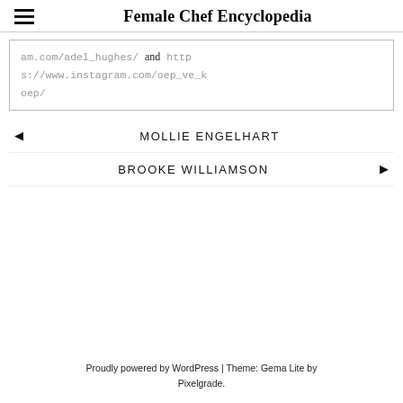Female Chef Encyclopedia
am.com/adel_hughes/ and https://www.instagram.com/oep_ve_koep/
◄ MOLLIE ENGELHART
BROOKE WILLIAMSON ►
Proudly powered by WordPress | Theme: Gema Lite by Pixelgrade.